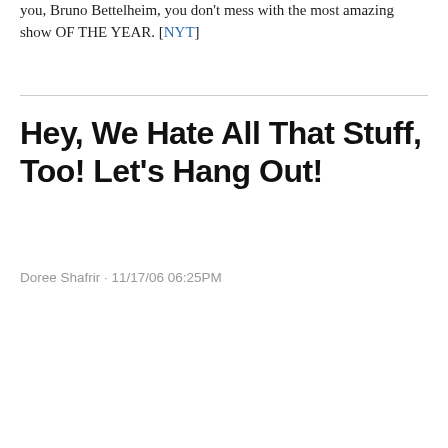you, Bruno Bettelheim, you don't mess with the most amazing show OF THE YEAR. [NYT]
Hey, We Hate All That Stuff, Too! Let's Hang Out!
Doree Shafrir · 11/17/06 06:25PM